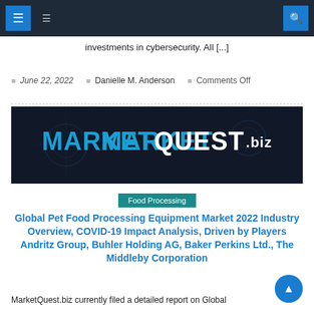navigation bar with icons
investments in cybersecurity. All [...]
June 22, 2022   Danielle M. Anderson   Comments Off
[Figure (logo): MarketQuest.biz logo banner on dark background]
Food Processing
Global Pet Food Processing Equipment Market 2022 Industry Overview, COVID-19 Impact Analysis, Driven by Players Andritz Group, Buhler Holding AG, Baker Perkins Ltd., The Middleby Corporation
MarketQuest.biz currently filed a detailed report on Global